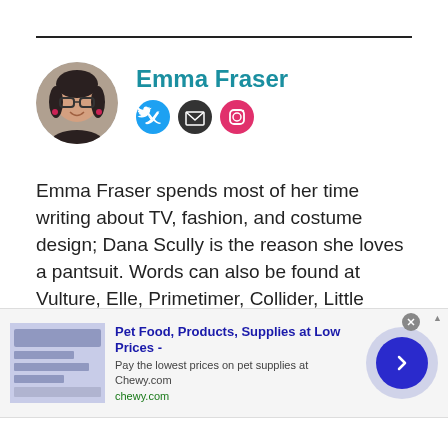[Figure (photo): Circular profile photo of Emma Fraser, a woman with dark hair and glasses, smiling]
Emma Fraser
[Figure (infographic): Social media icons: Twitter (blue), Email (dark), Instagram (pink)]
Emma Fraser spends most of her time writing about TV, fashion, and costume design; Dana Scully is the reason she loves a pantsuit. Words can also be found at Vulture, Elle, Primetimer, Collider, Little White Lies, Observer, and Girls on Tops. Emma has a Master’s in Film and Television, started a (defunct) blog that mainly focused on
[Figure (infographic): Advertisement banner: Pet Food, Products, Supplies at Low Prices - chewy.com. Pay the lowest prices on pet supplies at Chewy.com]